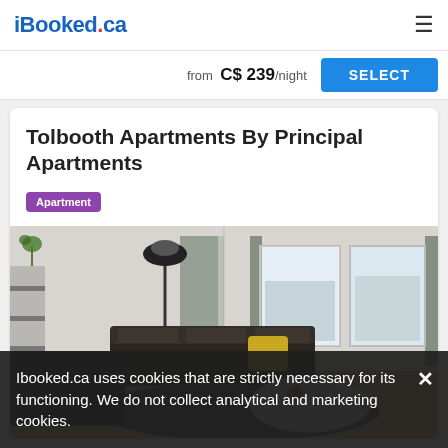iBooked.ca
from C$ 239/night
SELECT
Tolbooth Apartments By Principal Apartments
Apartment
[Figure (photo): Interior photo of a modern apartment living room with dark leather sofas, yellow cushion, floor lamp, plaid curtains and large windows showing a city view, hardwood floors and a glass coffee table.]
Ibooked.ca uses cookies that are strictly necessary for its functioning. We do not collect analytical and marketing cookies.